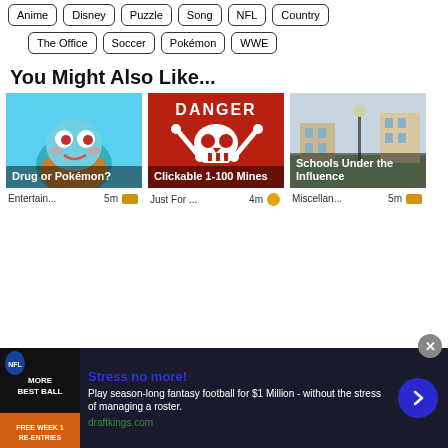Anime  Disney  Puzzle  Song  NFL  Country
The Office  Soccer  Pokémon  WWE
You Might Also Like...
[Figure (photo): Card 1: Squirtle Pokemon illustration with overlay text 'Drug or Pokémon?', meta: Entertain... 5m]
[Figure (photo): Card 2: Danger skull and crossbones red sign with overlay text 'Clickable 1-100 Mines', meta: Just For ... 4m]
[Figure (photo): Card 3: City street/building photo with overlay text 'Schools Under the Influence', meta: Miscellan... 5m]
[Figure (infographic): Advertisement banner: MORE BEST BALL - Stress no more! Play season-long fantasy football for $1 Million - without the stress of managing a roster. draftkings.com]